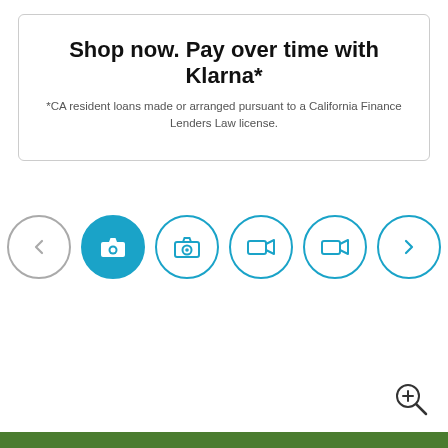Shop now. Pay over time with Klarna*
*CA resident loans made or arranged pursuant to a California Finance Lenders Law license.
[Figure (infographic): A row of circular icon buttons: a left arrow (light outline), a camera icon (filled blue/active), a camera icon (blue outline), a video camera icon (blue outline), a video camera icon (blue outline), and a right arrow (blue outline). Represents a media type selector navigation.]
[Figure (infographic): A zoom/magnify icon (magnifying glass with plus sign) in the bottom-right corner.]